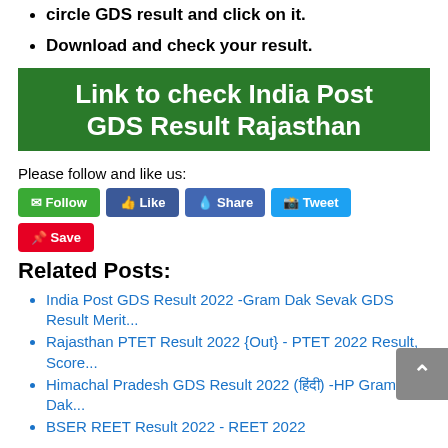circle GDS result and click on it.
Download and check your result.
Link to check India Post GDS Result Rajasthan
Please follow and like us:
[Figure (other): Social media buttons: Follow (green), Like (blue), Share (Facebook blue), Tweet (Twitter blue), Save (Pinterest red)]
Related Posts:
India Post GDS Result 2022 -Gram Dak Sevak GDS Result Merit...
Rajasthan PTET Result 2022 {Out} - PTET 2022 Result, Score...
Himachal Pradesh GDS Result 2022 (हिंदी) -HP Gramin Dak...
BSER REET Result 2022 - REET 2022